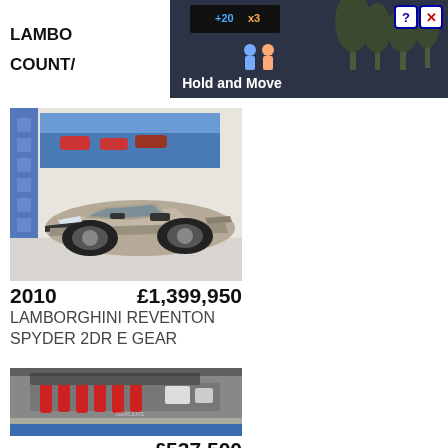[Figure (screenshot): Ad banner at top of page showing partial text 'LAMBO' and 'COUNTA' on left, and a 'Hold and Move' advertisement image on right with close/help buttons]
[Figure (photo): Lamborghini Reventon Spyder 2DR in a showroom, matte grey/beige color, viewed from front-left angle]
2010   £1,399,950
LAMBORGHINI REVENTON SPYDER 2DR E GEAR
[Figure (photo): Engine bay of a classic car showing a blue body with red engine components visible under an open hood]
£537,500